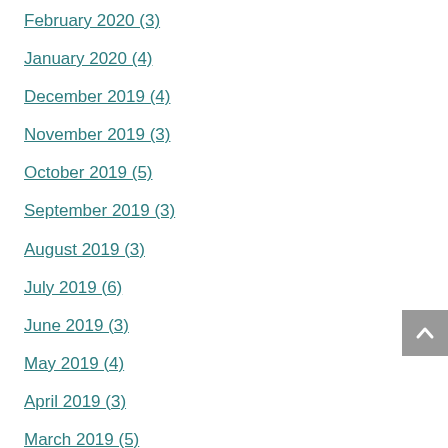February 2020 (3)
January 2020 (4)
December 2019 (4)
November 2019 (3)
October 2019 (5)
September 2019 (3)
August 2019 (3)
July 2019 (6)
June 2019 (3)
May 2019 (4)
April 2019 (3)
March 2019 (5)
February 2019 (1)